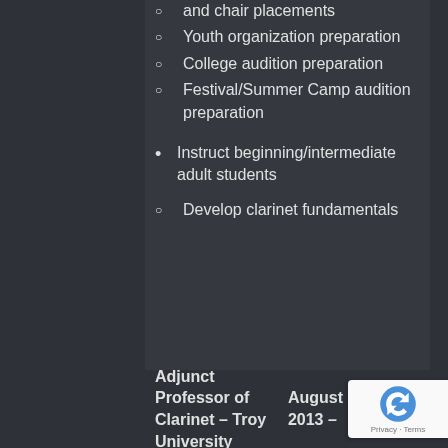and chair placements
Youth organization preparation
College audition preparation
Festival/Summer Camp audition preparation
Instruct beginning/intermediate adult students
Develop clarinet fundamentals
Adjunct Professor of Clarinet – Troy University    August 2013 –